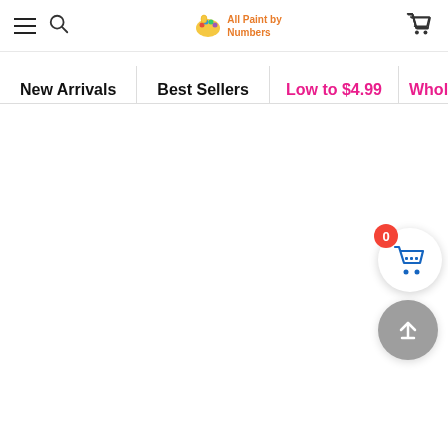Navigation header with hamburger menu, search icon, All Paint by Numbers logo, and shopping cart icon
New Arrivals
Best Sellers
Low to $4.99
Whol…
[Figure (infographic): Floating shopping cart button with red badge showing 0, and a back-to-top arrow button below it]